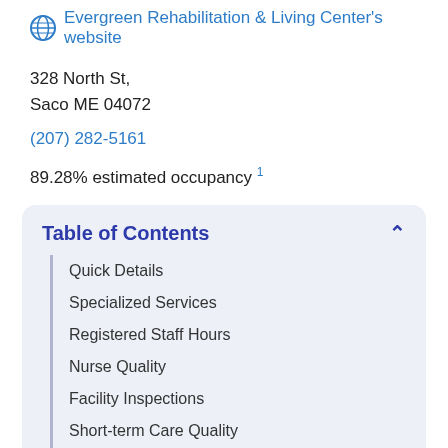Evergreen Rehabilitation & Living Center's website
328 North St,
Saco ME 04072
(207) 282-5161
89.28% estimated occupancy 1
Table of Contents
Quick Details
Specialized Services
Registered Staff Hours
Nurse Quality
Facility Inspections
Short-term Care Quality
Long-term Care Quality
Rating Over Time